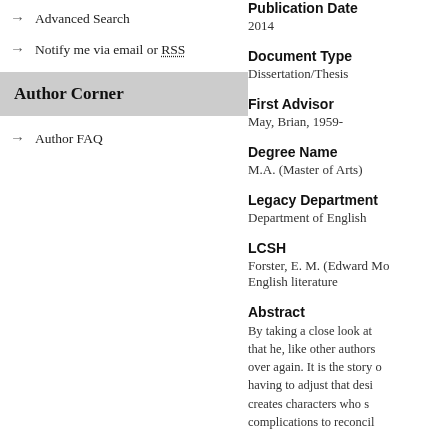→ Advanced Search
→ Notify me via email or RSS
Author Corner
→ Author FAQ
Publication Date
2014
Document Type
Dissertation/Thesis
First Advisor
May, Brian, 1959-
Degree Name
M.A. (Master of Arts)
Legacy Department
Department of English
LCSH
Forster, E. M. (Edward Mo... English literature
Abstract
By taking a close look at that he, like other authors over again. It is the story o having to adjust that desi creates characters who s complications to reconcil